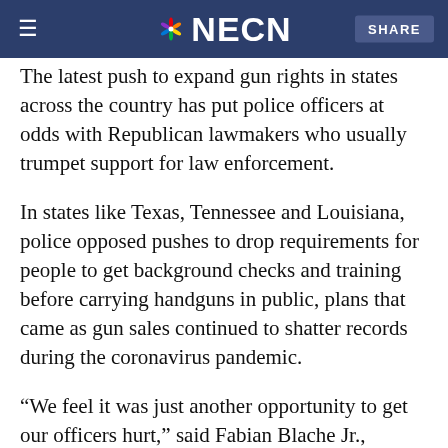NECN — SHARE
The latest push [to expand gun rights] in states across [the country] has put police officers at odds with Republican lawmakers who usually trumpet support for law enforcement.
In states like Texas, Tennessee and Louisiana, police opposed pushes to drop requirements for people to get background checks and training before carrying handguns in public, plans that came as gun sales continued to shatter records during the coronavirus pandemic.
“We feel it was just another opportunity to get our officers hurt,” said Fabian Blache Jr., executive director of the Louisiana Chiefs of Police Association. “It was a danger to law enforcement.”
There, a last-ditch public plea by dozens of Louisiana law